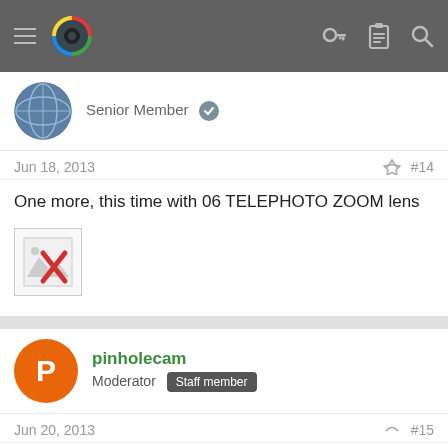Navigation bar with menu icon, logo, and icons for key, clipboard, search
Senior Member
Jun 18, 2013  #14
One more, this time with 06 TELEPHOTO ZOOM lens
[Figure (illustration): Broken image placeholder with red X icon]
pinholecam
Moderator  Staff member
Jun 20, 2013  #15
I'm beginning to keep linking to your shots whenever a 'too small sensor', 'too small camera' argument/discussion comes up
Great shots.